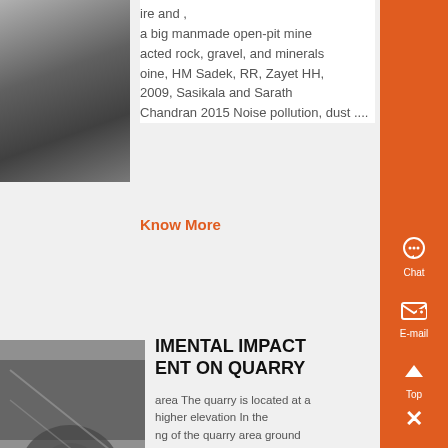[Figure (photo): Industrial machinery or quarry equipment, grayscale photo]
ire and , a big manmade open-pit mine acted rock, gravel, and minerals oine, HM Sadek, RR, Zayet HH, 2009, Sasikala and Sarath Chandran 2015 Noise pollution, dust ....
Know More
[Figure (photo): Industrial quarry machinery, grayscale photo]
IMENTAL IMPACT ENT ON QUARRY
area The quarry is located at a higher elevation In the ng of the quarry area ground is 20 m below the general surface Charnockite is an inert material and hence there is no impact on ground water 31 Impacts On Water Quality Silt run off from mines may be deposited in nearby